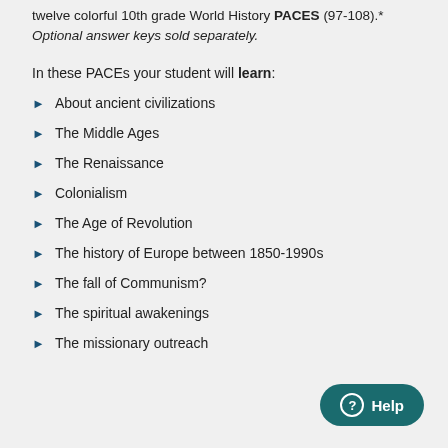twelve colorful 10th grade World History PACES (97-108).* Optional answer keys sold separately.
In these PACEs your student will learn:
About ancient civilizations
The Middle Ages
The Renaissance
Colonialism
The Age of Revolution
The history of Europe between 1850-1990s
The fall of Communism?
The spiritual awakenings
The missionary outreach